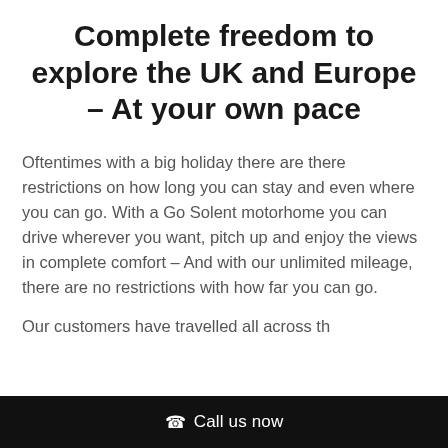Complete freedom to explore the UK and Europe – At your own pace
Oftentimes with a big holiday there are there restrictions on how long you can stay and even where you can go. With a Go Solent motorhome you can drive wherever you want, pitch up and enjoy the views in complete comfort – And with our unlimited mileage, there are no restrictions with how far you can go.
Our customers have travelled all across th
Call us now